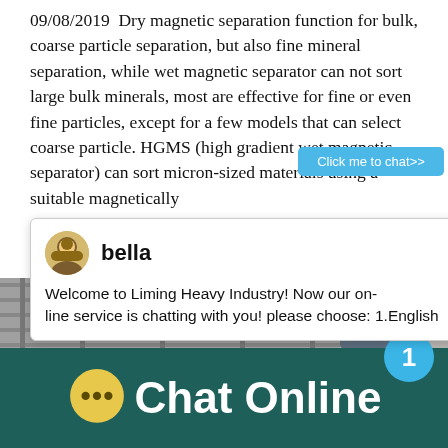09/08/2019  Dry magnetic separation function for bulk, coarse particle separation, but also fine mineral separation, while wet magnetic separator can not sort large bulk minerals, most are effective for fine or even fine particles, except for a few models that can select coarse particle. HGMS (high gradient wet magnetic separator) can sort micron-sized materials using a suitable magnetically
[Figure (screenshot): Chat popup with avatar labeled 'bella', message: 'Welcome to Liming Heavy Industry! Now our on-line service is chatting with you! please choose: 1.English', with close button and teal sidebar]
Finished product fineness:0-10mm□10-20mm
[Figure (photo): Industrial machinery photo at bottom left]
[Figure (photo): Industrial crusher machine on right side with blue circle badge showing '1' and 'Click me to chat>>' button]
Chat Online